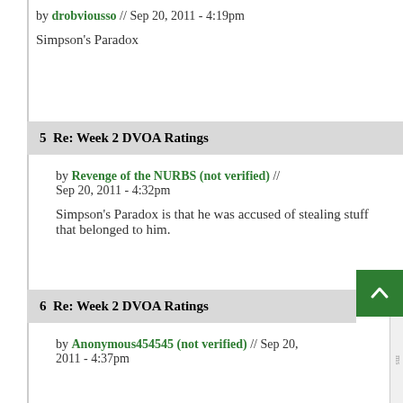by drobviousso // Sep 20, 2011 - 4:19pm
Simpson's Paradox
5  Re: Week 2 DVOA Ratings
by Revenge of the NURBS (not verified) // Sep 20, 2011 - 4:32pm
Simpson's Paradox is that he was accused of stealing stuff that belonged to him.
6  Re: Week 2 DVOA Ratings
by Anonymous454545 (not verified) // Sep 20, 2011 - 4:37pm